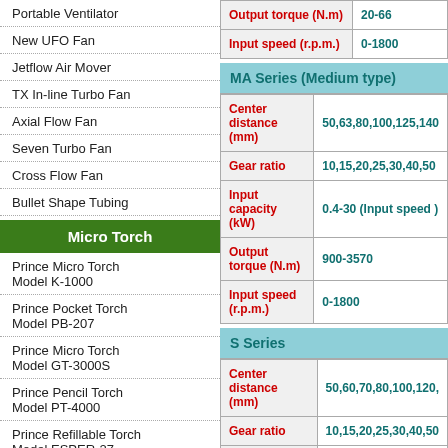Portable Ventilator
New UFO Fan
Jetflow Air Mover
TX In-line Turbo Fan
Axial Flow Fan
Seven Turbo Fan
Cross Flow Fan
Bullet Shape Tubing
Micro Torch
Prince Micro Torch Model K-1000
Prince Pocket Torch Model PB-207
Prince Micro Torch Model GT-3000S
Prince Pencil Torch Model PT-4000
Prince Refillable Torch Model ESPER-27
| Spec | Value |
| --- | --- |
| Output torque (N.m) | 20-66 |
| Input speed (r.p.m.) | 0-1800 |
MA Series (Medium type)
| Spec | Value |
| --- | --- |
| Center distance (mm) | 50,63,80,100,125,140... |
| Gear ratio | 10,15,20,25,30,40,50... |
| Input capacity (kW) | 0.4-30 (Input speed ...) |
| Output torque (N.m) | 900-3570 |
| Input speed (r.p.m.) | 0-1800 |
S Series
| Spec | Value |
| --- | --- |
| Center distance (mm) | 50,60,70,80,100,120,... |
| Gear ratio | 10,15,20,25,30,40,50... |
| Input capacity (kW) | 0.3-255 (Input speed...) |
| Output torque (N.m) | 50-56600 |
| Input speed (r.p.m.) | 0-1800 |